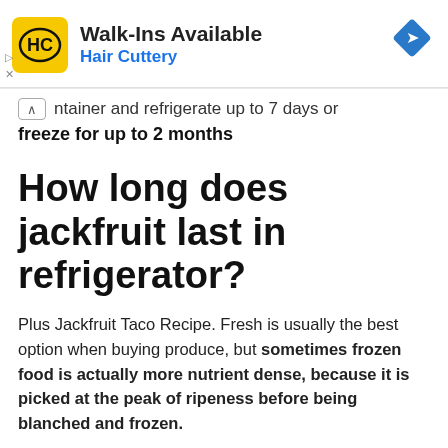[Figure (other): Hair Cuttery advertisement banner with yellow logo showing 'HC', text 'Walk-Ins Available' and 'Hair Cuttery' in blue, with a blue diamond navigation arrow on the right]
ntainer and refrigerate up to 7 days or
freeze for up to 2 months
How long does jackfruit last in refrigerator?
Plus Jackfruit Taco Recipe. Fresh is usually the best option when buying produce, but sometimes frozen food is actually more nutrient dense, because it is picked at the peak of ripeness before being blanched and frozen.